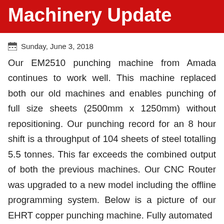Machinery Update
Sunday, June 3, 2018
Our EM2510 punching machine from Amada continues to work well. This machine replaced both our old machines and enables punching of full size sheets (2500mm x 1250mm) without repositioning. Our punching record for an 8 hour shift is a throughput of 104 sheets of steel totalling 5.5 tonnes. This far exceeds the combined output of both the previous machines. Our CNC Router was upgraded to a new model including the offline programming system. Below is a picture of our EHRT copper punching machine. Fully automated